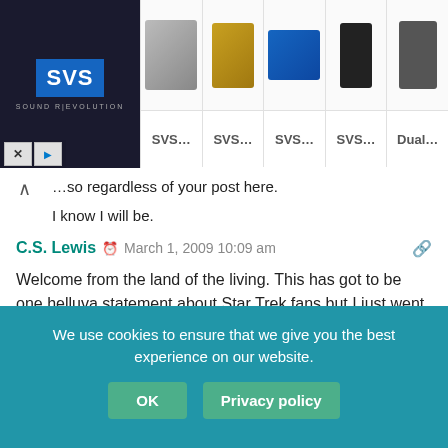[Figure (screenshot): SVS Sound Revolution advertisement banner with logo and product thumbnails (cables, connectors, speakers)]
... so regardless of your post here.
I know I will be.
C.S. Lewis  ⏰  March 1, 2009 10:09 am
Welcome from the land of the living. This has got to be one helluva statement about Star Trek fans but I just went through open heart surgery and one of the first things I did is read TrekMovie.com. So take that, fanboyz!
Anthony, babdror made a half-star refund guarantee if the movie requires me to exit before the screening has finished. Obviously...  ...and I take him at...
We use cookies to ensure that we give you the best experience on our website.
OK   Privacy policy